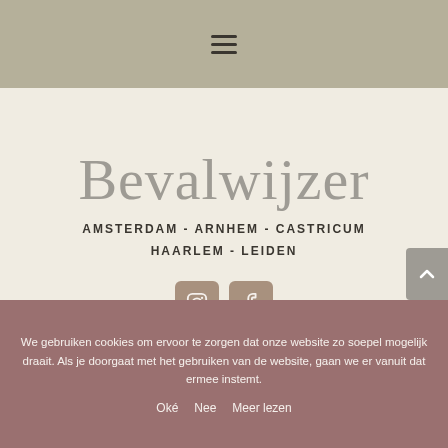[Figure (screenshot): Navigation header bar with hamburger menu icon on khaki/taupe background]
Bevalwijzer
AMSTERDAM - ARNHEM - CASTRICUM
HAARLEM - LEIDEN
[Figure (other): Instagram and Facebook social media icon buttons in mauve/rosewood color]
We gebruiken cookies om ervoor te zorgen dat onze website zo soepel mogelijk draait. Als je doorgaat met het gebruiken van de website, gaan we er vanuit dat ermee instemt.
Oké   Nee   Meer lezen